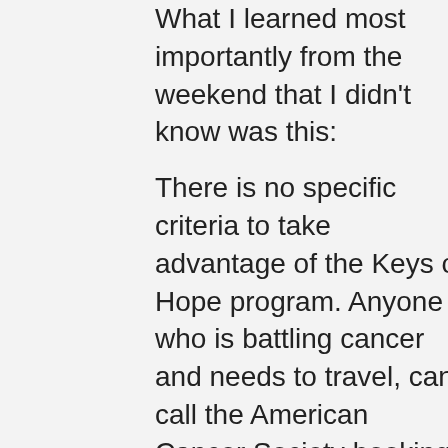What I learned most importantly from the weekend that I didn't know was this:
There is no specific criteria to take advantage of the Keys of Hope program. Anyone who is battling cancer and needs to travel, can call the American Cancer Society booking hotline and they can ask about the Extended Stay America rooms, you can get free or deeply discounted rooms. That's the beauty of the program, it is a donation of currently 47,000 room nights and counting that are open to anyone who needs